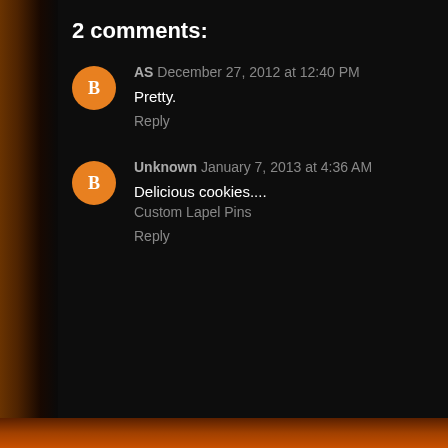2 comments:
AS December 27, 2012 at 12:40 PM
Pretty.
Reply
Unknown January 7, 2013 at 4:36 AM
Delicious cookies....
Custom Lapel Pins
Reply